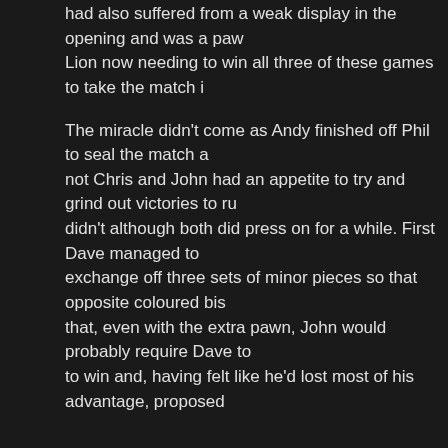had also suffered from a weak display in the opening and was a paw… Lion now needing to win all three of these games to take the match i…
The miracle didn't come as Andy finished off Phil to seal the match a… not Chris and John had an appetite to try and grind out victories to ru… didn't although both did press on for a while. First Dave managed to … exchange off three sets of minor pieces so that opposite coloured bis… that, even with the extra pawn, John would probably require Dave to … to win and, having felt like he'd lost most of his advantage, proposed…
Then on board 3, Chris Bak too acknowledged that Andrew's stubbo… playing field. The position was congested and, although he had a sp… could make progress, so he too offered a draw.
This was an outstanding 1 – 4 win for Hebden Bridge against one of … final match scorecard:
Golden Lion vs. Hebden Brid…
M.Hamer 0 – 1 M.Parsons (W…
P.Cook 0 – 1 A.Bak (Whit…
A.A.Clarkson ½ – ½ C.Bak (W…